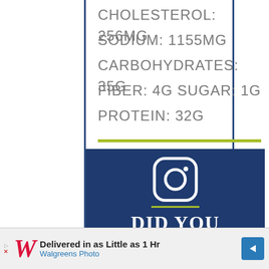CHOLESTEROL: 256MG
SODIUM: 1155MG
CARBOHYDRATES: 35G
FIBER: 4G SUGAR: 1G
PROTEIN: 32G
[Figure (illustration): Instagram camera icon in white outline on dark blue background with green underline, followed by large white uppercase text reading DID YOU MAKE THIS]
Delivered in as Little as 1 Hr Walgreens Photo